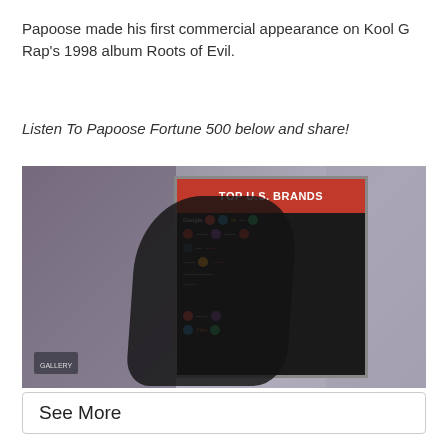Papoose made his first commercial appearance on Kool G Rap's 1998 album Roots of Evil.
Listen To Papoose Fortune 500 below and share!
[Figure (photo): A person standing in front of a dark backdrop/poster that reads 'TOP U.S. BRANDS' in white and red text, with various brand logos displayed below the heading.]
See More